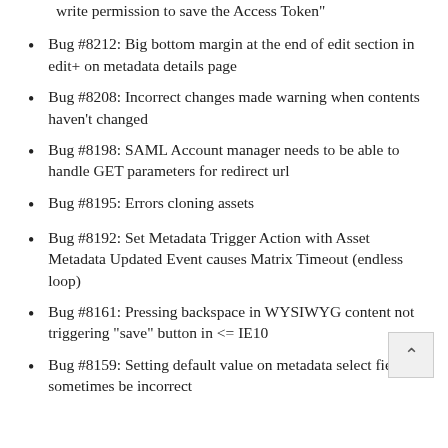Bug #8212: Big bottom margin at the end of edit section in edit+ on metadata details page
Bug #8208: Incorrect changes made warning when contents haven't changed
Bug #8198: SAML Account manager needs to be able to handle GET parameters for redirect url
Bug #8195: Errors cloning assets
Bug #8192: Set Metadata Trigger Action with Asset Metadata Updated Event causes Matrix Timeout (endless loop)
Bug #8161: Pressing backspace in WYSIWYG content not triggering "save" button in <= IE10
Bug #8159: Setting default value on metadata select field can sometimes be incorrect